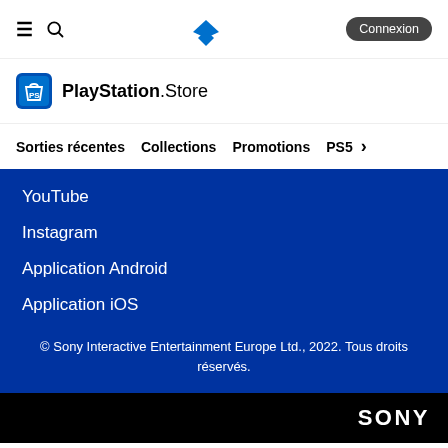≡  🔍  [PlayStation logo]  Connexion
[Figure (logo): PlayStation Store logo with shopping bag icon]
Sorties récentes
Collections
Promotions
PS5
YouTube
Instagram
Application Android
Application iOS
© Sony Interactive Entertainment Europe Ltd., 2022. Tous droits réservés.
SONY